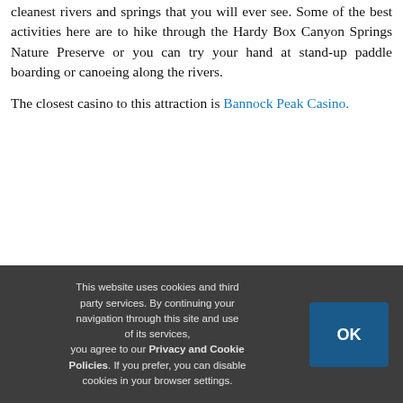cleanest rivers and springs that you will ever see. Some of the best activities here are to hike through the Hardy Box Canyon Springs Nature Preserve or you can try your hand at stand-up paddle boarding or canoeing along the rivers.
The closest casino to this attraction is Bannock Peak Casino.
How many casinos are in Idaho?
This website uses cookies and third party services. By continuing your navigation through this site and use of its services, you agree to our Privacy and Cookie Policies. If you prefer, you can disable cookies in your browser settings.